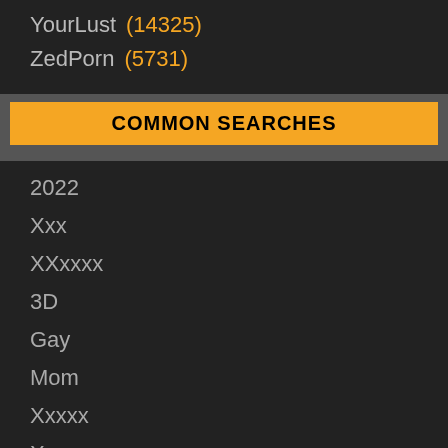YourLust (14325)
ZedPorn (5731)
COMMON SEARCHES
2022
Xxx
XXxxxx
3D
Gay
Mom
Xxxxx
Xxxxxxx
2021
Anal
Bbw